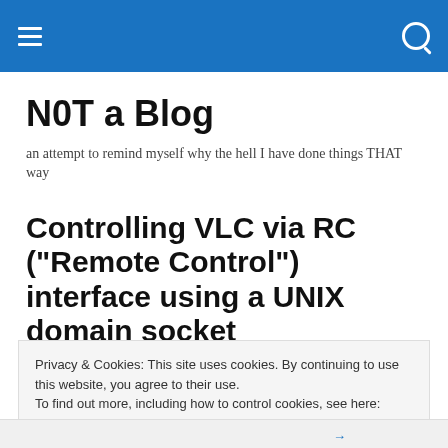Navigation bar with menu and search icons
N0T a Blog
an attempt to remind myself why the hell I have done things THAT way
Controlling VLC via RC (“Remote Control”) interface using a UNIX domain socket
Privacy & Cookies: This site uses cookies. By continuing to use this website, you agree to their use.
To find out more, including how to control cookies, see here: Cookie Policy
Close and accept